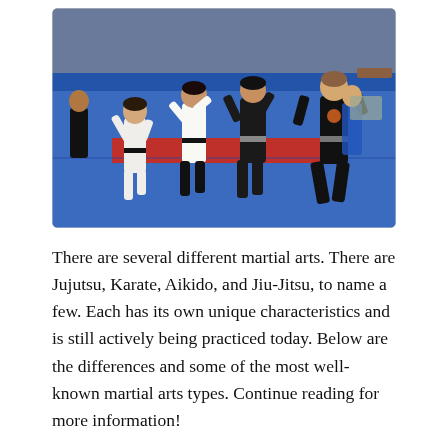[Figure (photo): Children practicing martial arts in a gymnasium with blue and red mats. Several kids in white and black uniforms (gi) are sparring or exercising. An instructor in dark clothing is visible in the background.]
There are several different martial arts. There are Jujutsu, Karate, Aikido, and Jiu-Jitsu, to name a few. Each has its own unique characteristics and is still actively being practiced today. Below are the differences and some of the most well-known martial arts types. Continue reading for more information!